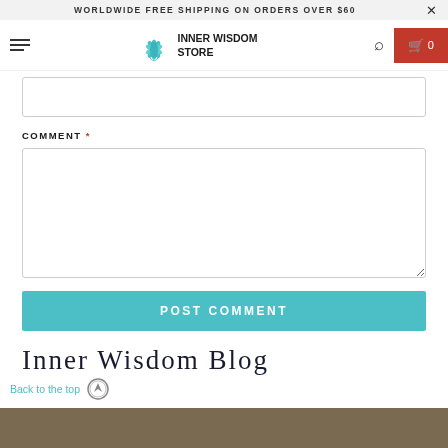WORLDWIDE FREE SHIPPING ON ORDERS OVER $60
[Figure (logo): Inner Wisdom Store logo with lotus flower icon and text INNER WISDOM STORE]
COMMENT *
POST COMMENT
Inner Wisdom Blog
Back to the top